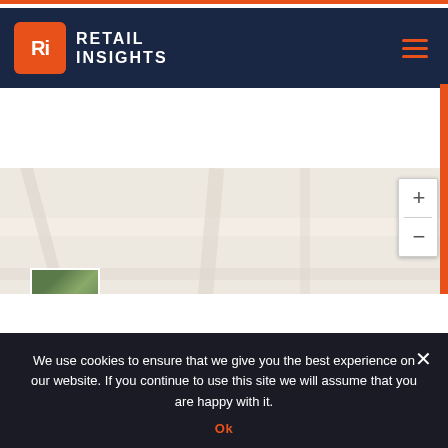[Figure (screenshot): Retail Insights website header with orange and dark navy background, Ri logo in orange square, hamburger menu icon]
[Figure (map): Google Maps embed showing street map with zoom controls (+/-), satellite thumbnail, and labels 'Innutzen', 'inal'. Map footer shows 'Keyboard shortcuts', 'Map data ©2022 Google', 'Terms of Use']
[Figure (screenshot): Dark section with Retail Insights logo (orange Ri box) and 'RETAIL' text in white on dark background with crowd silhouette]
We use cookies to ensure that we give you the best experience on our website. If you continue to use this site we will assume that you are happy with it.
Ok